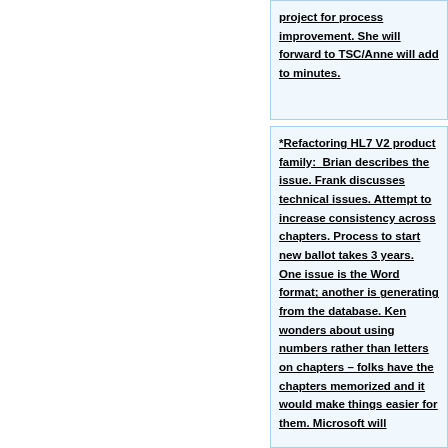project for process improvement. She will forward to TSC/Anne will add to minutes.
*Refactoring HL7 V2 product family:  Brian describes the issue. Frank discusses technical issues. Attempt to increase consistency across chapters. Process to start new ballot takes 3 years. One issue is the Word format; another is generating from the database. Ken wonders about using numbers rather than letters on chapters – folks have the chapters memorized and it would make things easier for them. Microsoft will